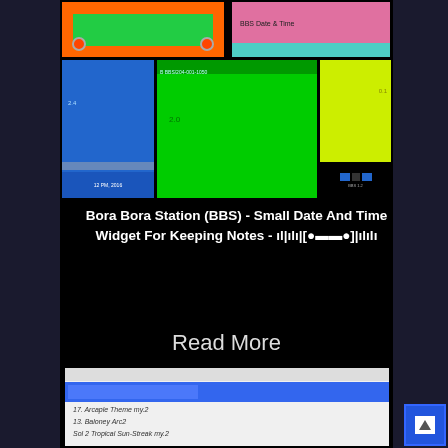[Figure (screenshot): Collage of colorful UI screenshots showing date/time widget interfaces with green, orange, pink, blue, lime-green color schemes]
Bora Bora Station (BBS) - Small Date And Time Widget For Keeping Notes - ıl|ılı|[●▬▬●]|ılılı
Read More
[Figure (screenshot): Screenshot of a list/notes UI with blue selected row and several italic text items]